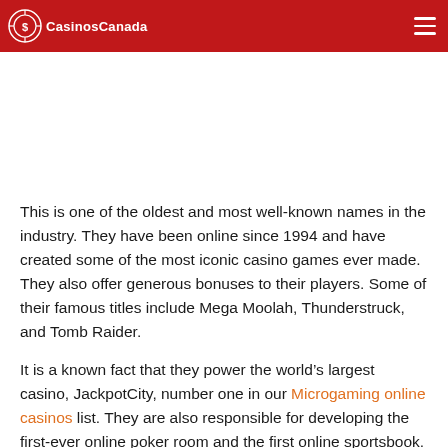CasinosCanada
This is one of the oldest and most well-known names in the industry. They have been online since 1994 and have created some of the most iconic casino games ever made. They also offer generous bonuses to their players. Some of their famous titles include Mega Moolah, Thunderstruck, and Tomb Raider.
It is a known fact that they power the world’s largest casino, JackpotCity, number one in our Microgaming online casinos list. They are also responsible for developing the first-ever online poker room and the first online sportsbook.